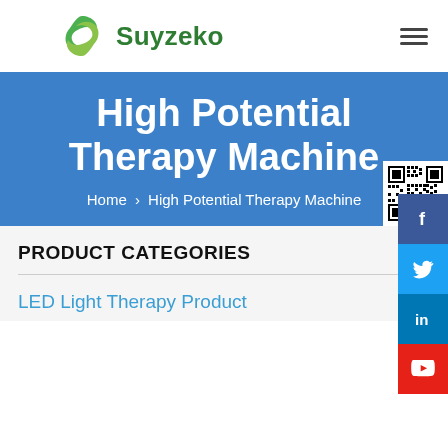[Figure (logo): Suyzeko logo with green stylized S icon and green bold text 'Suyzeko']
High Potential Therapy Machine
Home > High Potential Therapy Machine
[Figure (other): QR code in white box at bottom right of hero banner]
[Figure (other): Social media icons: Facebook (dark blue circle), Twitter (cyan circle), LinkedIn (dark blue circle), YouTube (red circle)]
PRODUCT CATEGORIES
LED Light Therapy Product